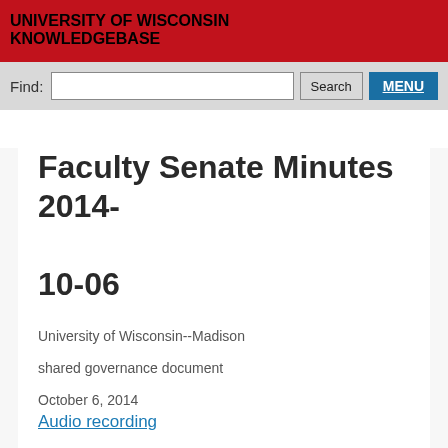UNIVERSITY OF WISCONSIN KNOWLEDGEBASE
Faculty Senate Minutes 2014-10-06
University of Wisconsin--Madison
shared governance document
October 6, 2014
Audio recording
Chancellor Rebecca Blank called the meeting to order at